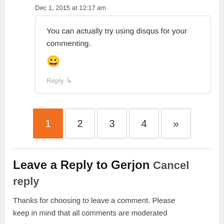Dec 1, 2015 at 12:17 am
You can actually try using disqus for your commenting. 😀
Reply ↳
1 2 3 4 »
Leave a Reply to Gerjon Cancel reply
Thanks for choosing to leave a comment. Please keep in mind that all comments are moderated